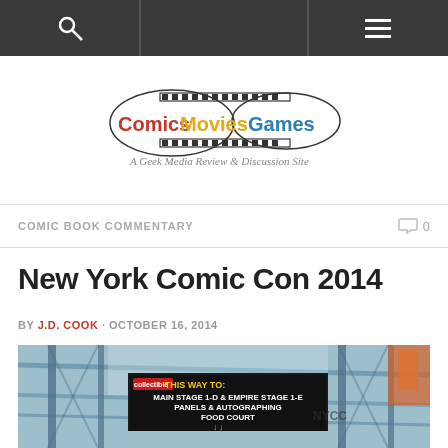Navigation bar with search and menu icons
[Figure (logo): Comics Movies Games logo with film strip and game controller motif, tagline: A Geek Media Review & Discussion Site]
COMIC BOOK COMMENTARY
New York Comic Con 2014
BY J.D. COOK · OCTOBER 16, 2014
[Figure (photo): Interior of convention center with scaffolding and a large sign reading: THIS WAY TO: MAIN STAGE 1-D & EMPIRE STAGE 1-E PANELS & AUTOGRAPHING FOOD COURT]